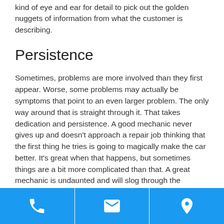kind of eye and ear for detail to pick out the golden nuggets of information from what the customer is describing.
Persistence
Sometimes, problems are more involved than they first appear. Worse, some problems may actually be symptoms that point to an even larger problem. The only way around that is straight through it. That takes dedication and persistence. A good mechanic never gives up and doesn't approach a repair job thinking that the first thing he tries is going to magically make the car better. It's great when that happens, but sometimes things are a bit more complicated than that. A great mechanic is undaunted and will slog through the process until the problem is identified and corrected.
[Figure (infographic): Blue footer bar with three white icons: phone, envelope/email, and map pin/location marker]